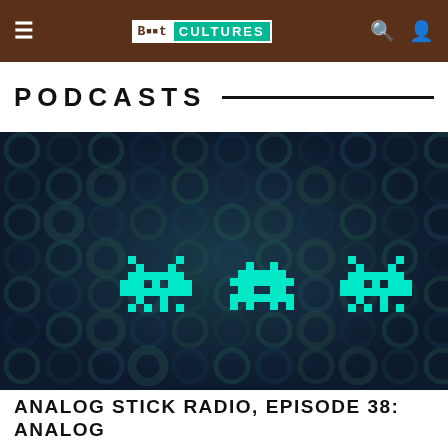Bit Cultures — navigation bar with hamburger menu, logo, search and user icons
PODCASTS
[Figure (illustration): Dark blue/teal hexagonal bokeh background with three bright cyan pixel-art Space Invader alien sprites in the foreground]
ANALOG STICK RADIO, EPISODE 38: ANALOG